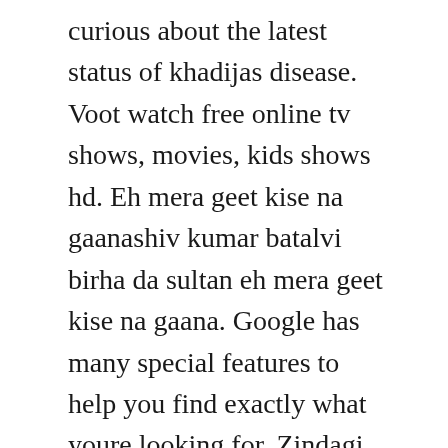curious about the latest status of khadijas disease. Voot watch free online tv shows, movies, kids shows hd. Eh mera geet kise na gaanashiv kumar batalvi birha da sultan eh mera geet kise na gaana. Google has many special features to help you find exactly what youre looking for. Zindagi gulzar hai by hum tv episode 22 pakdramasonline. Mera sultan episode 351 on geo kahani 22nd august 2014. Mera saaein 2 2 mera sultan 19 meray hazoor 2 meray qatil meray dildar 25. Mera sultan episode 363 in high quality 15th september